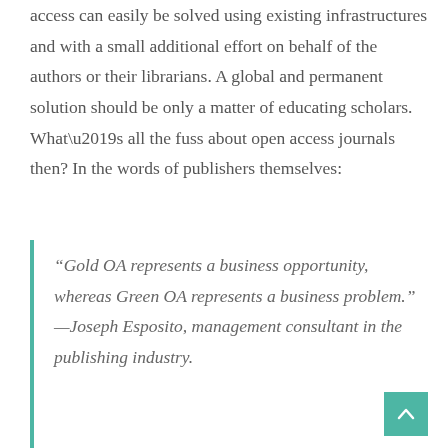access can easily be solved using existing infrastructures and with a small additional effort on behalf of the authors or their librarians. A global and permanent solution should be only a matter of educating scholars. What's all the fuss about open access journals then? In the words of publishers themselves:
“Gold OA represents a business opportunity, whereas Green OA represents a business problem.” —Joseph Esposito, management consultant in the publishing industry.